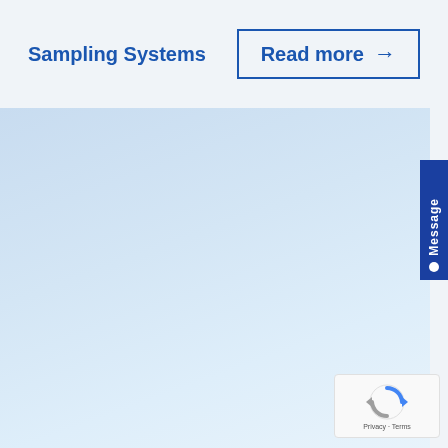Sampling Systems
Read more →
[Figure (illustration): Light blue gradient panel filling the lower three-quarters of the page, representing a product/content area background.]
Message
[Figure (logo): reCAPTCHA widget with spinning arrows logo and Privacy - Terms text at the bottom right corner.]